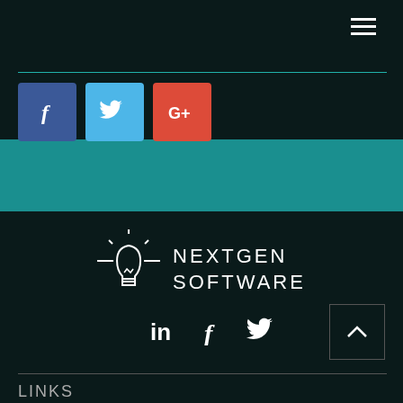[Figure (screenshot): Top navigation bar with dark background, teal separator line, hamburger menu icon on the right]
[Figure (logo): Social media icons row: Facebook (blue), Twitter (light blue), Google+ (red) in the dark header area]
[Figure (logo): NextGen Software logo with lightbulb icon and white text on dark background, with LinkedIn, Facebook, Twitter icons below]
LINKS